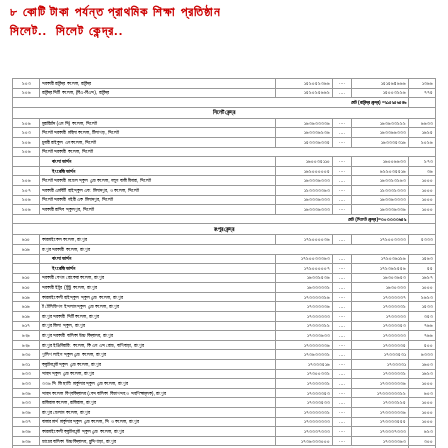৮ কোটি টাকা পর্যন্ত প্রাথমিক শিক্ষা
প্রতিষ্ঠান..  সিলেট কেন্দ্র..
| ক্রম | প্রতিষ্ঠানের নাম | মূল্য অনুমান | ··· | চুক্তি মূল্য | অগ্রগতি |
| --- | --- | --- | --- | --- | --- |